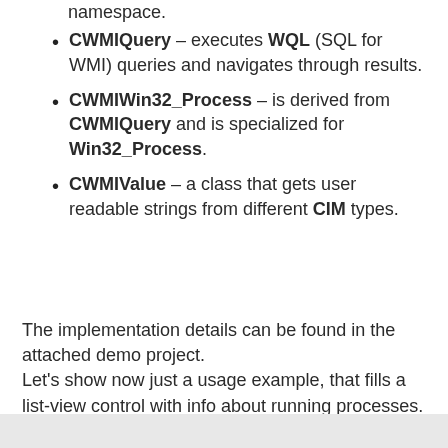namespace.
CWMIQuery – executes WQL (SQL for WMI) queries and navigates through results.
CWMIWin32_Process – is derived from CWMIQuery and is specialized for Win32_Process.
CWMIValue – a class that gets user readable strings from different CIM types.
The implementation details can be found in the attached demo project.
Let's show now just a usage example, that fills a list-view control with info about running processes.
[Figure (other): Gray bar at the bottom of the page, partial code block background]